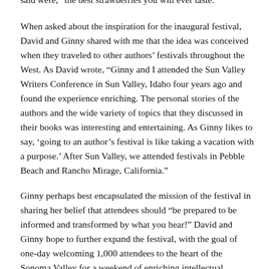said were, “the best strawberries you will ever taste.”
When asked about the inspiration for the inaugural festival, David and Ginny shared with me that the idea was conceived when they traveled to other authors’ festivals throughout the West. As David wrote, “Ginny and I attended the Sun Valley Writers Conference in Sun Valley, Idaho four years ago and found the experience enriching. The personal stories of the authors and the wide variety of topics that they discussed in their books was interesting and entertaining. As Ginny likes to say, ‘going to an author’s festival is like taking a vacation with a purpose.’ After Sun Valley, we attended festivals in Pebble Beach and Rancho Mirage, California.”
Ginny perhaps best encapsulated the mission of the festival in sharing her belief that attendees should “be prepared to be informed and transformed by what you hear!” David and Ginny hope to further expand the festival, with the goal of one-day welcoming 1,000 attendees to the heart of the Sonoma Valley for a weekend of enriching intellectual exchange.
I had the privilege over the course of the festival to meet